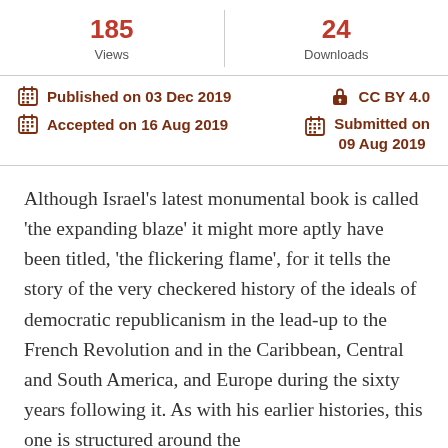| Views | Downloads |
| --- | --- |
| 185 | 24 |
Published on 03 Dec 2019
CC BY 4.0
Accepted on 16 Aug 2019
Submitted on 09 Aug 2019
Although Israel's latest monumental book is called 'the expanding blaze' it might more aptly have been titled, 'the flickering flame', for it tells the story of the very checkered history of the ideals of democratic republicanism in the lead-up to the French Revolution and in the Caribbean, Central and South America, and Europe during the sixty years following it. As with his earlier histories, this one is structured around the